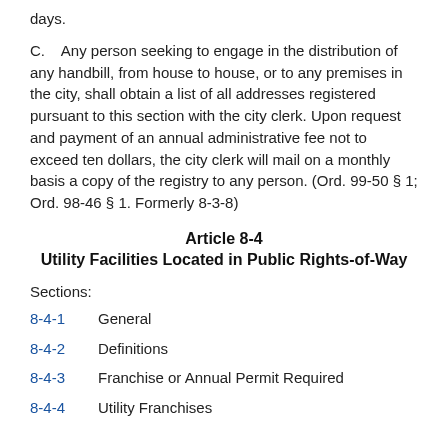days.
C.    Any person seeking to engage in the distribution of any handbill, from house to house, or to any premises in the city, shall obtain a list of all addresses registered pursuant to this section with the city clerk. Upon request and payment of an annual administrative fee not to exceed ten dollars, the city clerk will mail on a monthly basis a copy of the registry to any person. (Ord. 99-50 § 1; Ord. 98-46 § 1. Formerly 8-3-8)
Article 8-4
Utility Facilities Located in Public Rights-of-Way
Sections:
8-4-1    General
8-4-2    Definitions
8-4-3    Franchise or Annual Permit Required
8-4-4    Utility Franchises